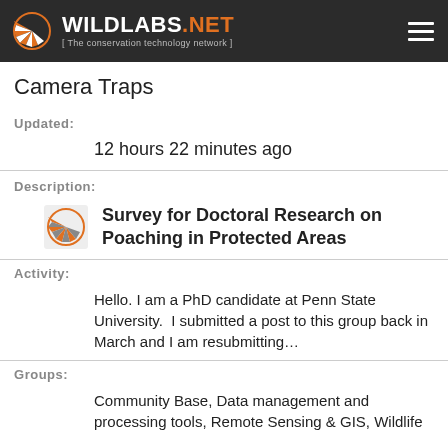WILDLABS.NET [ The conservation technology network ]
Camera Traps
Updated:
12 hours 22 minutes ago
Description:
[Figure (logo): WildLabs.NET logo with text: Survey for Doctoral Research on Poaching in Protected Areas]
Activity:
Hello. I am a PhD candidate at Penn State University.  I submitted a post to this group back in March and I am resubmitting…
Groups:
Community Base, Data management and processing tools, Remote Sensing & GIS, Wildlife